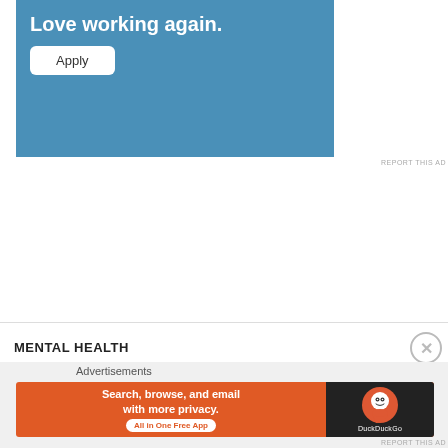[Figure (screenshot): Blue advertisement banner with text 'Love working again.' and an Apply button]
REPORT THIS AD
ANXIETY
CONFIDENCE
DEPRESSION
DOUBT
DREAM LIFE
FEAR
HUMANITY
LOVE
MENTAL WELLBEING
NEW
PERFECT LIFE
SELF ESTEEM
SELF WORTH
WORTH
MENTAL HEALTH
Advertisements
[Figure (screenshot): DuckDuckGo advertisement: Search, browse, and email with more privacy. All in One Free App]